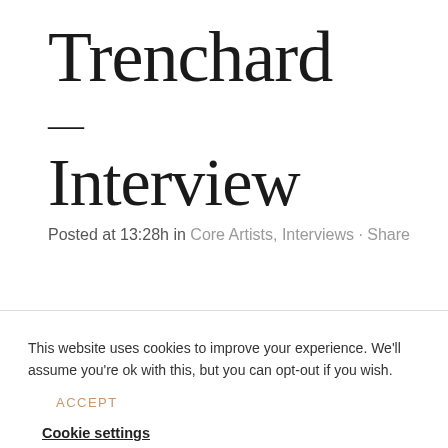Trenchard
—
Interview
Posted at 13:28h in Core Artists, Interviews · Share
This website uses cookies to improve your experience. We'll assume you're ok with this, but you can opt-out if you wish.
ACCEPT
Cookie settings